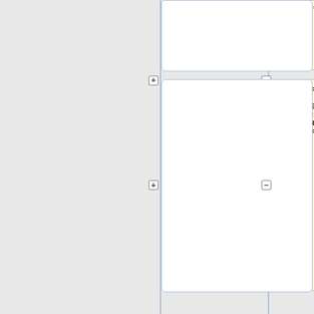============
==== -->
<!-- =====
CODE DEVELOPER'S FORUMS : FOURTH ROW
===== -->
<!--
==============
==============
==============
==============
==== -->
<!-- Header title -->
<tr bqcolor="#cccc